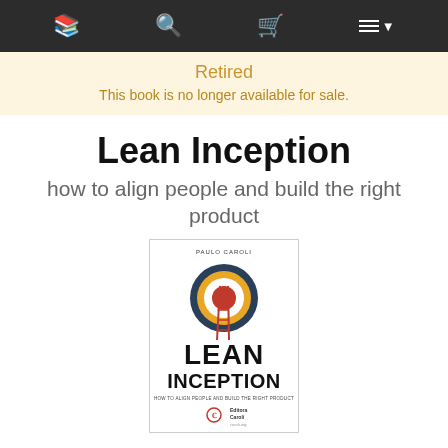Navigation bar with book icon, search icon, cart icon, and menu icon
Retired
This book is no longer available for sale.
Lean Inception
how to align people and build the right product
[Figure (illustration): Book cover of Lean Inception by Paulo Caroli, showing a target/bullseye with concentric rings in dark blue, yellow/gold, and red, with a ladder leaning against the target. The words LEAN INCEPTION appear in large bold black text below the target. Subtitle reads HOW TO ALIGN PEOPLE AND BUILD THE RIGHT PRODUCT. Published by Editora Caroli.]